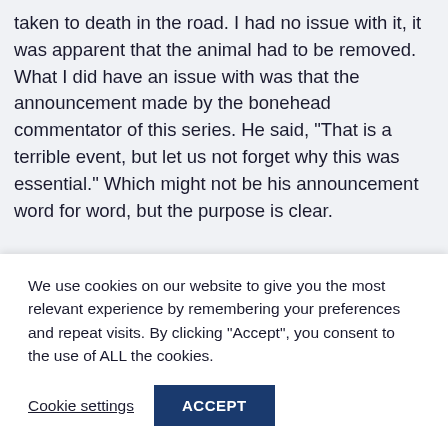taken to death in the road. I had no issue with it, it was apparent that the animal had to be removed. What I did have an issue with was that the announcement made by the bonehead commentator of this series. He said, "That is a terrible event, but let us not forget why this was essential." Which might not be his announcement word for word, but the purpose is clear.

The elephant had to perish since it was a rampaging creature! How stupid is that? In my view that was a very
We use cookies on our website to give you the most relevant experience by remembering your preferences and repeat visits. By clicking "Accept", you consent to the use of ALL the cookies.
Cookie settings
ACCEPT